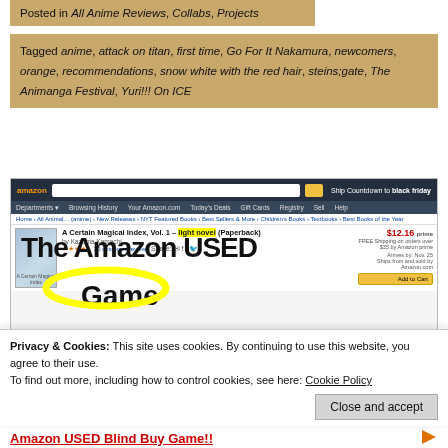Posted in All Anime Reviews, Collabs, Projects
Tagged anime, attack on titan, first time, Go For It Nakamura, newcomers, orange, recommendations, snow white with the red hair, steins;gate, The Animanga Festival, Yuri!!! On ICE
[Figure (screenshot): Screenshot of Amazon product page for 'A Certain Magical Index, Vol. 1 - light novel (Paperback)' with overlaid text 'The Amazon USED Game' in large bold letters with yellow circle highlight]
Privacy & Cookies: This site uses cookies. By continuing to use this website, you agree to their use.
To find out more, including how to control cookies, see here: Cookie Policy
Close and accept
Amazon USED Blind Buy Game!!